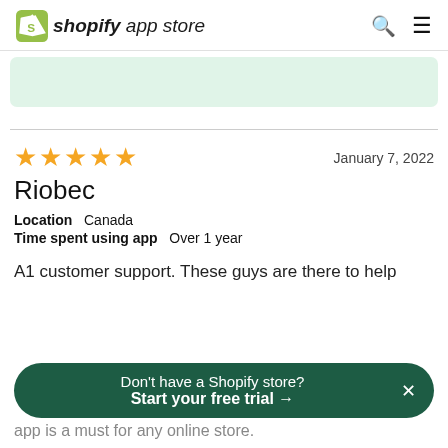shopify app store
[Figure (other): Green card/banner area (partially visible, light green background)]
January 7, 2022
[Figure (other): 5 gold star rating icons]
Riobec
Location   Canada
Time spent using app   Over 1 year
A1 customer support. These guys are there to help
app is a must for any online store.
Don't have a Shopify store? Start your free trial →